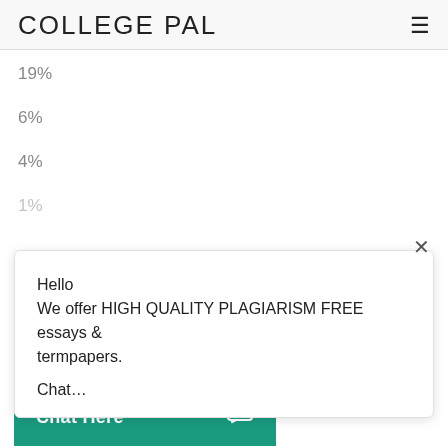COLLEGE PAL
19%
6%
4%
1%
Hello
We offer HIGH QUALITY PLAGIARISM FREE essays & termpapers.

Chat…
Strong automatic association of male with Science and Female with liberal Arts
Chat Here